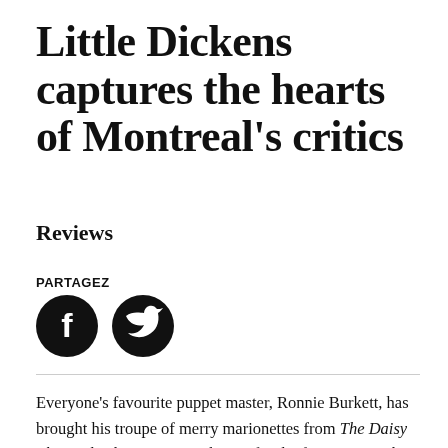Little Dickens captures the hearts of Montreal's critics
Reviews
PARTAGEZ
[Figure (illustration): Two social media share buttons: Facebook (F logo) and Twitter (bird logo), both circular with black background and white icon.]
Everyone's favourite puppet master, Ronnie Burkett, has brought his troupe of merry marionettes from The Daisy Theatre back to Centaur Theatre for the first ever Quebec production of Little Dickens. You may think you know Charles Dickens' classic A Christmas Carol by heart, but